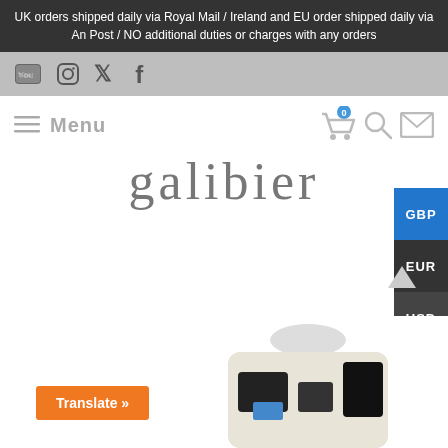UK orders shipped daily via Royal Mail / Ireland and EU order shipped daily via An Post / NO additional duties or charges with any orders
[Figure (screenshot): Social media icons bar: YouTube, Instagram, Twitter, Facebook]
[Figure (screenshot): Navigation bar with hamburger menu icon, Menu text, shopping cart icon with 0 badge, search icon, mail icon]
galibier
[Figure (screenshot): Currency selector buttons on right side: GBP (blue), EUR (dark), USD (dark)]
[Figure (photo): Partial product image - appears to be a cycling jersey with black and white pattern]
[Figure (screenshot): Translate button (orange) with text 'Translate »']
[Figure (screenshot): Scroll up arrow icon]